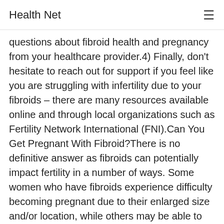Health Net
questions about fibroid health and pregnancy from your healthcare provider.4) Finally, don't hesitate to reach out for support if you feel like you are struggling with infertility due to your fibroids – there are many resources available online and through local organizations such as Fertility Network International (FNI).Can You Get Pregnant With Fibroid?There is no definitive answer as fibroids can potentially impact fertility in a number of ways. Some women who have fibroids experience difficulty becoming pregnant due to their enlarged size and/or location, while others may be able to conceive without any problems at all. However, it is always important to speak with your doctor about your specific situation in order not only get the most accurate information but also receive guidance on how best deal with any potential obstacles along the